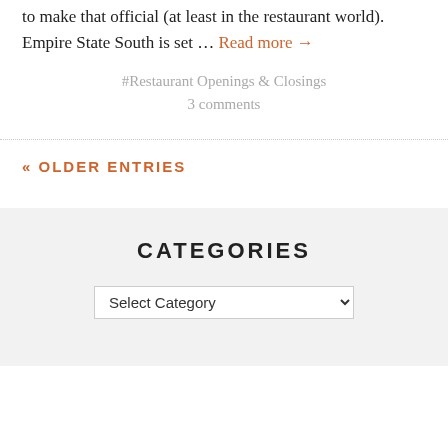to make that official (at least in the restaurant world). Empire State South is set … Read more →
#Restaurant Openings & Closings
3 comments
« OLDER ENTRIES
CATEGORIES
Select Category